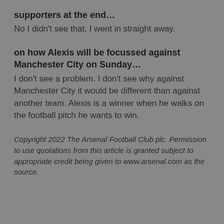supporters at the end…
No I didn't see that, I went in straight away.
on how Alexis will be focussed against Manchester City on Sunday…
I don't see a problem. I don't see why against Manchester City it would be different than against another team. Alexis is a winner when he walks on the football pitch he wants to win.
Copyright 2022 The Arsenal Football Club plc. Permission to use quotations from this article is granted subject to appropriate credit being given to www.arsenal.com as the source.